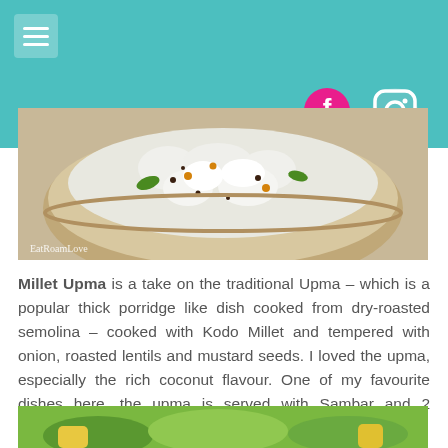[Figure (screenshot): Teal header bar with hamburger menu icon on the left and Facebook and Instagram social media icons on the right]
[Figure (photo): Close-up photo of Millet Upma dish in a metal bowl, showing white fluffy millet with roasted lentils and mustard seeds, with a watermark reading EatRoamLove]
Millet Upma is a take on the traditional Upma – which is a popular thick porridge like dish cooked from dry-roasted semolina – cooked with Kodo Millet and tempered with onion, roasted lentils and mustard seeds. I loved the upma, especially the rich coconut flavour. One of my favourite dishes here, the upma is served with Sambar and 2 chutneys.
[Figure (photo): Bottom partial photo of another food dish, showing green vegetables and yellow elements]